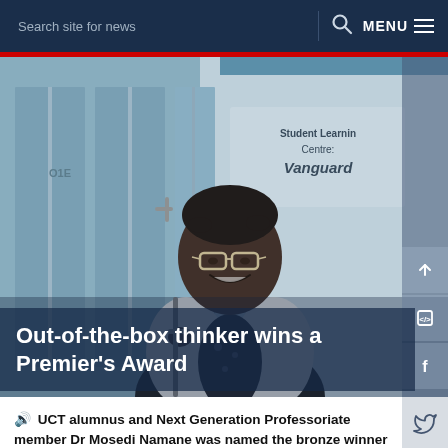Search site for news  MENU
[Figure (photo): A smiling woman wearing glasses and a white blazer over a dark floral top, standing at the entrance of a building with a sign reading 'Student Learning Centre: Vanguard']
Out-of-the-box thinker wins a Premier's Award
UCT alumnus and Next Generation Professoriate member Dr Mosedi Namane was named the bronze winner in her category at the 2018 Western Cape...
14 MAR 2019 - 6 min read